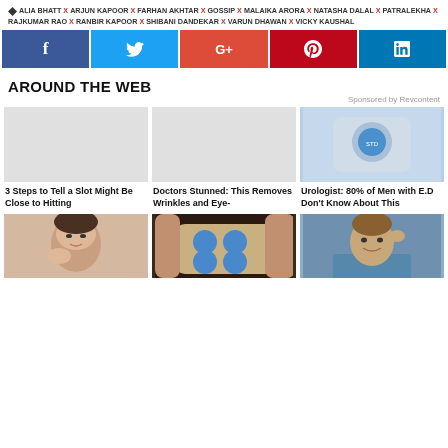ALIA BHATT X ARJUN KAPOOR X FARHAN AKHTAR X GOSSIP X MALAIKA ARORA X NATASHA DALAL X PATRALEKHA X RAJKUMAR RAO X RANBIR KAPOOR X SHIBANI DANDEKAR X VARUN DHAWAN X VICKY KAUSHAL
[Figure (infographic): Social media share buttons: Facebook (dark blue), Twitter (cyan), Google+ (red-orange), Pinterest (red), LinkedIn (blue)]
AROUND THE WEB
Sponsored by Revcontent
[Figure (photo): Blue pill on blister pack — medical/pharmaceutical product image]
3 Steps to Tell a Slot Might Be Close to Hitting
Doctors Stunned: This Removes Wrinkles and Eye-
Urologist: 80% of Men with E.D Don't Know About This
[Figure (photo): Young woman touching her face — beauty/skincare]
[Figure (photo): Blue pills in blister pack held by fingers]
[Figure (photo): Man looking up, smiling, holding something to his head]